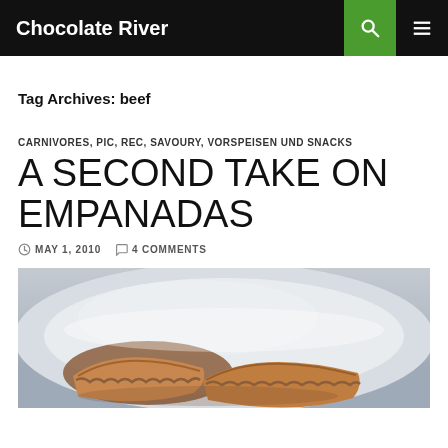Chocolate River
Tag Archives: beef
CARNIVORES, PIC, REC, SAVOURY, VORSPEISEN UND SNACKS
A SECOND TAKE ON EMPANADAS
MAY 1, 2010  4 COMMENTS
[Figure (photo): Close-up photo of empanadas on a white plate, showing golden-brown baked pastries with flaky crusts, partially broken open]